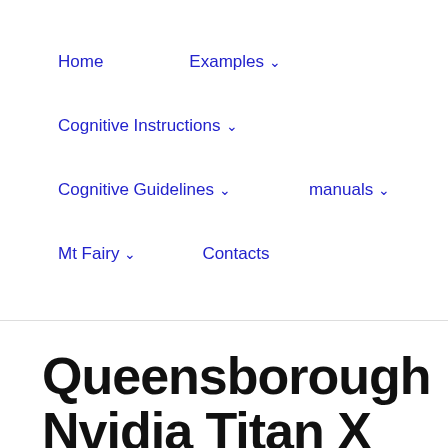Home    Examples ˅    Cognitive Instructions ˅    Cognitive Guidelines ˅    manuals ˅    Mt Fairy ˅    Contacts
Queensborough Nvidia Titan X